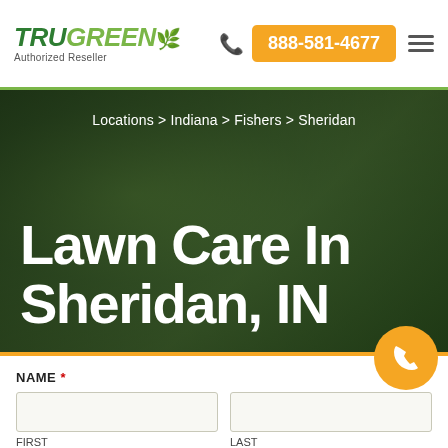TRUGREEN Authorized Reseller | 888-581-4677
Locations > Indiana > Fishers > Sheridan
Lawn Care In Sheridan, IN
NAME * FIRST | LAST
ADDRESS *